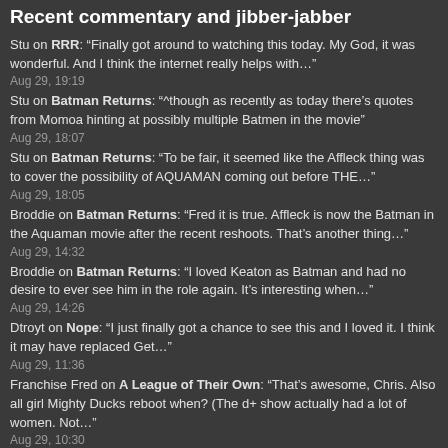Recent commentary and jibber-jabber
Stu on RRR: “Finally got around to watching this today. My God, it was wonderful. And I think the internet really helps with…” Aug 29, 19:19
Stu on Batman Returns: “^though as recently as today there’s quotes from Momoa hinting at possibly multiple Batmen in the movie” Aug 29, 18:07
Stu on Batman Returns: “To be fair, it seemed like the Affleck thing was to cover the possibility of AQUAMAN coming out before THE…” Aug 29, 18:05
Broddie on Batman Returns: “Fred it is true. Affleck is now the Batman in the Aquaman movie after the recent reshoots. That’s another thing…” Aug 29, 14:32
Broddie on Batman Returns: “I loved Keaton as Batman and had no desire to ever see him in the role again. It’s interesting when…” Aug 29, 14:26
Dtroyt on Nope: “I just finally got a chance to see this and I loved it. I think it may have replaced Get…” Aug 29, 11:36
Franchise Fred on A League of Their Own: “That’s awesome, Chris. Also all girl Mighty Ducks reboot when? (The d+ show actually had a lot of women. Not…” Aug 29, 10:30
Franchise Fred on Batman Returns: “I don’t imagine Keaton needs money bad enough that he’d come back to Batman unless he believed in it. I…” Aug 29, 10:24
CJ Holden on Batman Returns: “We would probably me more excited or worried about any of the thought provoking yet super entertaining mid